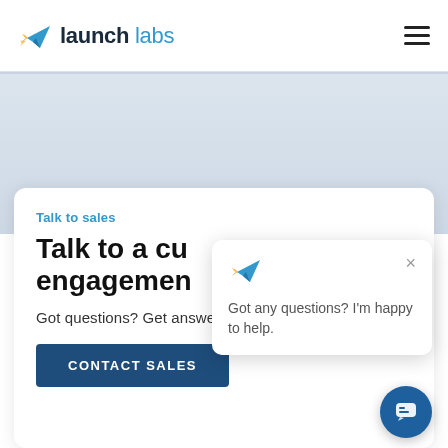[Figure (logo): Launch Labs logo with paper airplane icon and text 'launch labs']
[Figure (illustration): Hamburger menu icon (three horizontal lines)]
Talk to sales
Talk to a cu... engagemen...
Got questions? Get answers.
CONTACT SALES
[Figure (screenshot): Chat popup with paper airplane icon, close X button, and message: Got any questions? I'm happy to help.]
[Figure (illustration): Chat bubble button (circular dark blue button with speech bubble icon)]